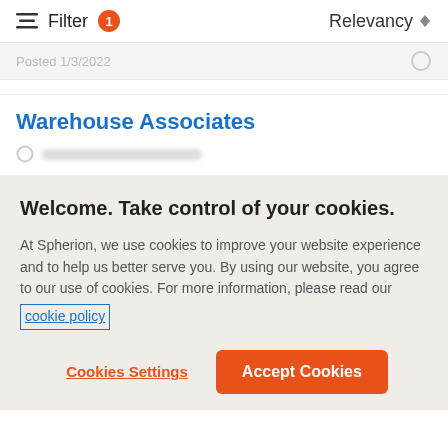Filter 1   Relevancy
Posted 1/3/2022
Warehouse Associates
Welcome. Take control of your cookies.
At Spherion, we use cookies to improve your website experience and to help us better serve you. By using our website, you agree to our use of cookies. For more information, please read our cookie policy
Cookies Settings   Accept Cookies